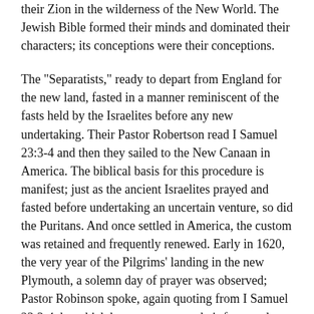their Zion in the wilderness of the New World. The Jewish Bible formed their minds and dominated their characters; its conceptions were their conceptions.
The "Separatists," ready to depart from England for the new land, fasted in a manner reminiscent of the fasts held by the Israelites before any new undertaking. Their Pastor Robertson read I Samuel 23:3-4 and then they sailed to the New Canaan in America. The biblical basis for this procedure is manifest; just as the ancient Israelites prayed and fasted before undertaking an uncertain venture, so did the Puritans. And once settled in America, the custom was retained and frequently renewed. Early in 1620, the very year of the Pilgrims' landing in the new Plymouth, a solemn day of prayer was observed; Pastor Robinson spoke, again quoting from I Samuel 23:3-4, by which he strove to ease their fears and strengthen their determination. This custom, combining prayer and fasting with biblical readings on momentous occasions, persisted and as late as 1800, President Adams likewise called a national day of prayer and fasting.